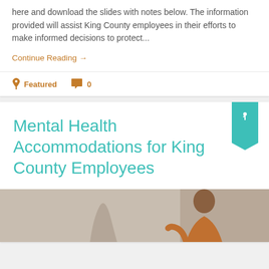here and download the slides with notes below. The information provided will assist King County employees in their efforts to make informed decisions to protect...
Continue Reading →
📌 Featured   💬 0
Mental Health Accommodations for King County Employees
[Figure (photo): Photo of a person appearing distressed, sitting against a wall]